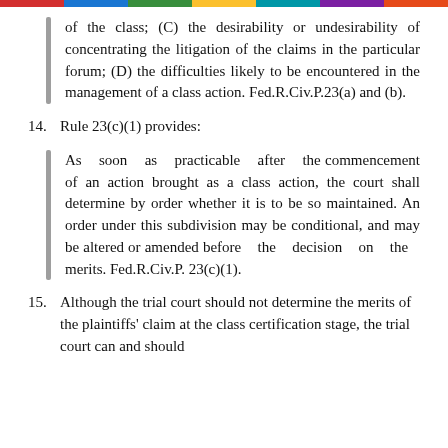of the class; (C) the desirability or undesirability of concentrating the litigation of the claims in the particular forum; (D) the difficulties likely to be encountered in the management of a class action. Fed.R.Civ.P.23(a) and (b).
14. Rule 23(c)(1) provides:
As soon as practicable after the commencement of an action brought as a class action, the court shall determine by order whether it is to be so maintained. An order under this subdivision may be conditional, and may be altered or amended before the decision on the merits. Fed.R.Civ.P. 23(c)(1).
15. Although the trial court should not determine the merits of the plaintiffs' claim at the class certification stage, the trial court can and should